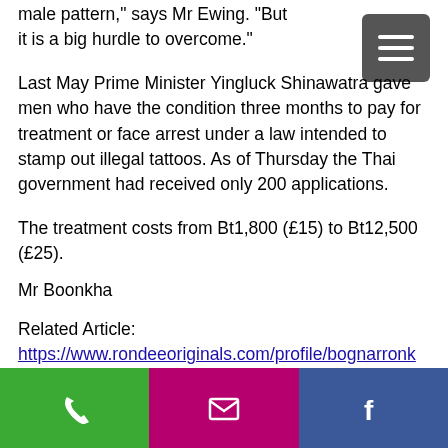male pattern," says Mr Ewing. "But it is a big hurdle to overcome."
Last May Prime Minister Yingluck Shinawatra gave men who have the condition three months to pay for treatment or face arrest under a law intended to stamp out illegal tattoos. As of Thursday the Thai government had received only 200 applications.
The treatment costs from Bt1,800 (£15) to Bt12,500 (£25).
Mr Boonkha
Related Article:
https://www.rondeeoriginals.com/profile/bognarronka/profile
https://www.nicelifenphotography.com/profile/b